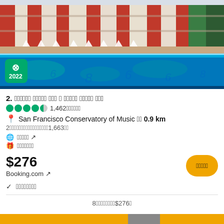[Figure (photo): Hotel exterior with colorful facade and swimming pool. TripAdvisor 2022 badge in bottom-left corner.]
2. ꡁꡁꡁꡁꡁꡁ ꡁꡁꡁꡁꡁ ꡁꡁꡁ ꡁ ꡁꡁꡁꡁꡁ ꡁꡁꡁꡁꡁ ꡁꡁꡁ
●●●●◐ 1,462ꡁꡁꡁꡁꡁꡁ
📍 San Francisco Conservatory of Music ꡁꡁ 0.9 km
2ꡁꡁꡁꡁꡁꡁꡁꡁꡁꡁꡁꡁꡁꡁꡁꡁꡁ1,663ꡁꡁ
🌐 ꡁꡁꡁꡁꡁ ↗
🎁 ꡁꡁꡁꡁꡁꡁꡁ
$276
Booking.com ↗
ꡁꡁꡁꡁꡁ (book button)
✓  ꡁꡁꡁꡁꡁꡁꡁꡁ
8ꡁꡁꡁꡁꡁꡁꡁꡁ$276ꡁ